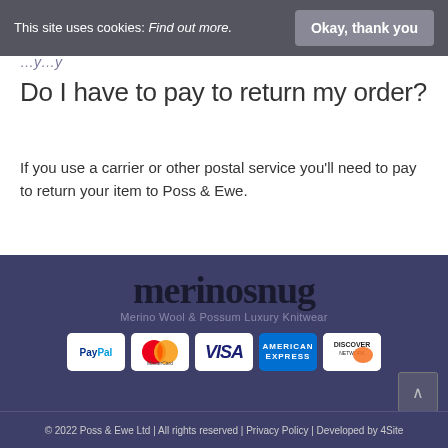This site uses cookies: Find out more.  Okay, thank you
...y...y
Do I have to pay to return my order?
If you use a carrier or other postal service you'll need to pay to return your item to Poss & Ewe.
[Figure (logo): merinosnug logo with text 'Merino Wool & Possum Luxury Knitwear' and five payment icons: PayPal, MasterCard, Visa, American Express, Discover Network]
© 2022 Poss & Ewe Ltd | All rights reserved | Privacy Policy | Developed by 4Site